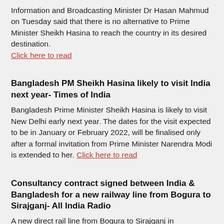Information and Broadcasting Minister Dr Hasan Mahmud on Tuesday said that there is no alternative to Prime Minister Sheikh Hasina to reach the country in its desired destination. Click here to read
Bangladesh PM Sheikh Hasina likely to visit India next year- Times of India
Bangladesh Prime Minister Sheikh Hasina is likely to visit New Delhi early next year. The dates for the visit expected to be in January or February 2022, will be finalised only after a formal invitation from Prime Minister Narendra Modi is extended to her. Click here to read
Consultancy contract signed between India & Bangladesh for a new railway line from Bogura to Sirajganj- All India Radio
A new direct rail line from Bogura to Sirajganj in Bangladesh